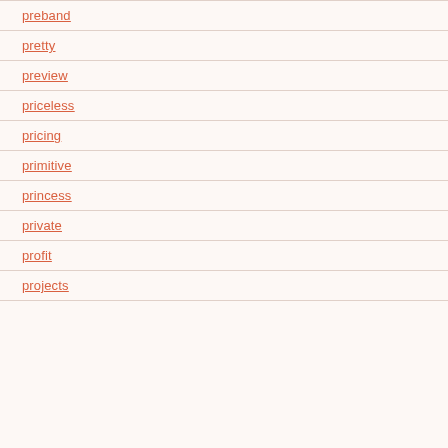preband
pretty
preview
priceless
pricing
primitive
princess
private
profit
projects